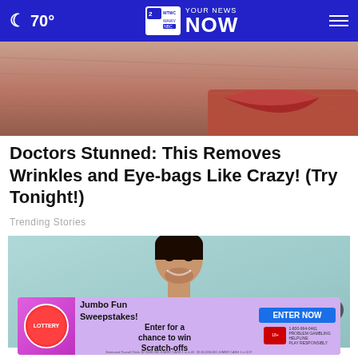🌙 70° | YOUR NEWS NOW | WTWC WAWV NBC 2
[Figure (photo): Close-up photo of aging skin around an eye and lips, showing wrinkles and texture]
Doctors Stunned: This Removes Wrinkles and Eye-bags Like Crazy! (Try Tonight!)
Trending Stories
[Figure (photo): Portrait photo of a smiling young man with dark hair, wearing an olive green shirt, against a light blue background]
[Figure (infographic): Advertisement banner for Lottery Jumbo Fun Sweepstakes - Enter for a chance to win Scratch-offs. ENTER NOW button.]